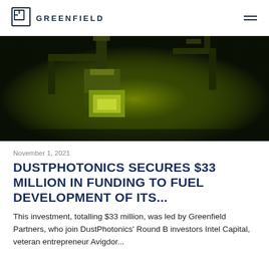GREENFIELD
[Figure (photo): Close-up photograph of precision manufacturing or photonics equipment with green-tinted lighting, showing metallic mechanical components and a chip or optical device being processed]
November 1, 2021
DUSTPHOTONICS SECURES $33 MILLION IN FUNDING TO FUEL DEVELOPMENT OF ITS...
This investment, totalling $33 million, was led by Greenfield Partners, who join DustPhotonics' Round B investors Intel Capital, veteran entrepreneur Avigdor...